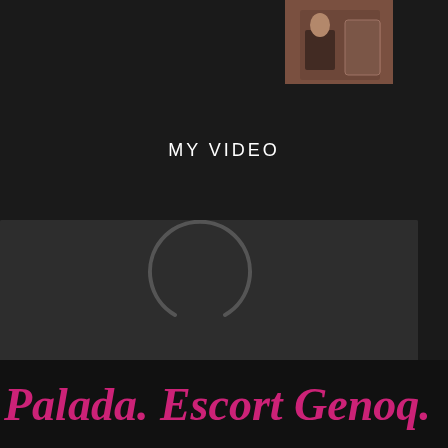[Figure (screenshot): Small thumbnail image showing people in a room with furniture, positioned in upper right area]
MY VIDEO
[Figure (screenshot): Video player showing a dark screen with a loading spinner (C-shaped arc) and playback controls at the bottom including play button, timestamp 0:00, volume, fullscreen, and more options icons]
Palada. Escort Genoq.